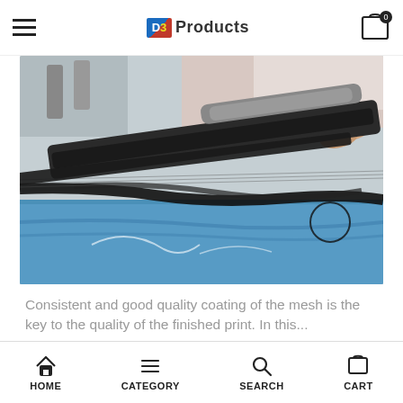D3 Products — hamburger menu, cart (0)
[Figure (photo): Close-up photo of a screen printing process showing a squeegee being pulled across a mesh screen with black ink over a blue substrate, with printing equipment visible in the background.]
Consistent and good quality coating of the mesh is the key to the quality of the finished print. In this...
HOME   CATEGORY   SEARCH   CART